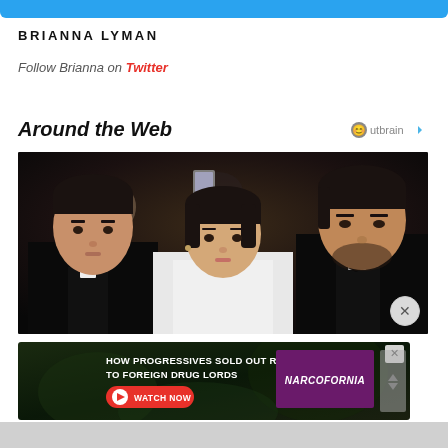BRIANNA LYMAN
Follow Brianna on Twitter
Around the Web
[Figure (photo): Three people in formal attire at a public event: a young man in a black tuxedo on the left, a woman in white in the center, and a man in a black tuxedo on the right, with a crowd and photographers visible in the background.]
[Figure (infographic): Advertisement for 'Narcofornia' with text 'HOW PROGRESSIVES SOLD OUT RURAL TOWNS TO FOREIGN DRUG LORDS' and a red 'WATCH NOW' button.]